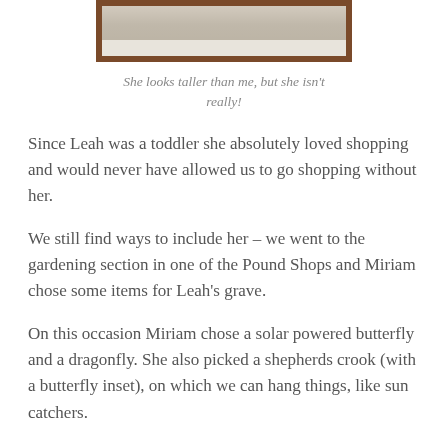[Figure (photo): Bottom portion of a photo showing two people's feet and legs in a shopping mall or store, with tiled floor visible. The image is partially cropped at the top. Wooden frame visible on left and right edges.]
She looks taller than me, but she isn't really!
Since Leah was a toddler she absolutely loved shopping and would never have allowed us to go shopping without her.
We still find ways to include her – we went to the gardening section in one of the Pound Shops and Miriam chose some items for Leah's grave.
On this occasion Miriam chose a solar powered butterfly and a dragonfly. She also picked a shepherds crook (with a butterfly inset), on which we can hang things, like sun catchers.